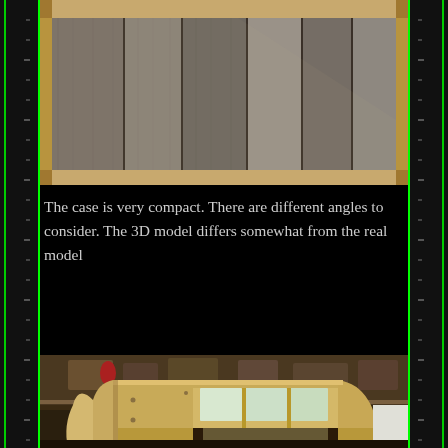[Figure (photo): Close-up photo of wooden arcade cabinet top showing reclaimed wood plank ceiling/marquee area with light wood frame]
The case is very compact. There are different angles to consider. The 3D model differs somewhat from the real model
[Figure (photo): Photo of a wooden arcade cabinet build in a workshop showing curved plywood sides, a monitor bay with frosted acrylic panels, and workshop tools/items on shelves in background]